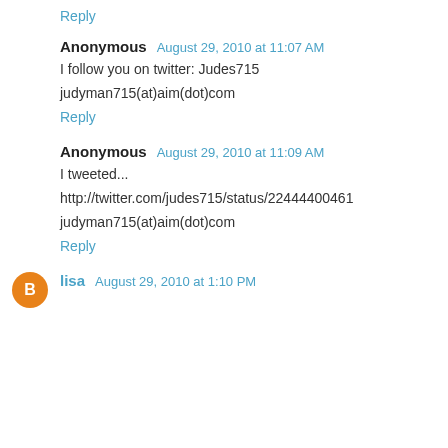Reply
Anonymous  August 29, 2010 at 11:07 AM
I follow you on twitter: Judes715
judyman715(at)aim(dot)com
Reply
Anonymous  August 29, 2010 at 11:09 AM
I tweeted...
http://twitter.com/judes715/status/22444400461
judyman715(at)aim(dot)com
Reply
lisa  August 29, 2010 at 1:10 PM